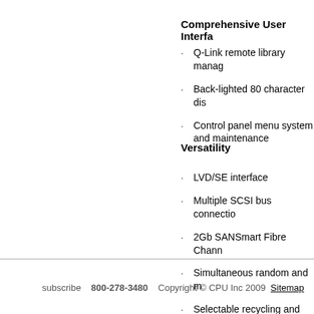Comprehensive User Interface
Q-Link remote library management
Back-lighted 80 character display
Control panel menu system for configuration and maintenance
Versatility
LVD/SE interface
Multiple SCSI bus connections
2Gb SANSmart Fibre Channel
Simultaneous random and mixed media
Selectable recycling and dual
subscribe   800-278-3480   Copyright © CPU Inc 2009   Sitemap